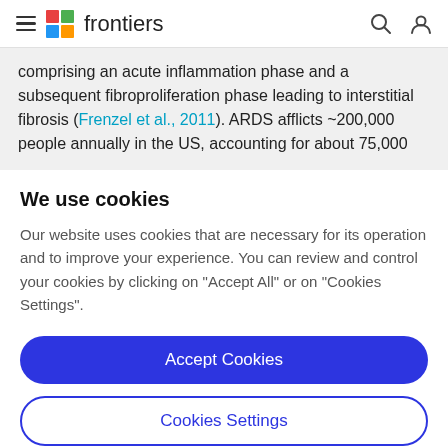frontiers
comprising an acute inflammation phase and a subsequent fibroproliferation phase leading to interstitial fibrosis (Frenzel et al., 2011). ARDS afflicts ~200,000 people annually in the US, accounting for about 75,000
We use cookies
Our website uses cookies that are necessary for its operation and to improve your experience. You can review and control your cookies by clicking on "Accept All" or on "Cookies Settings".
Accept Cookies
Cookies Settings